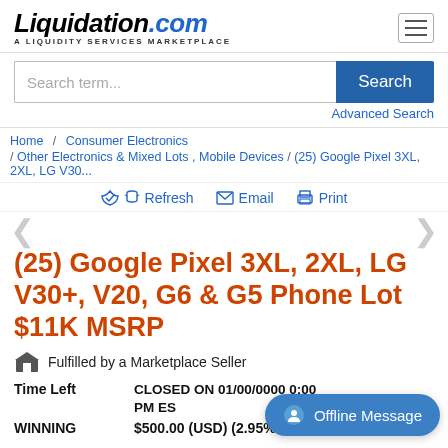Liquidation.com — A LIQUIDITY SERVICES MARKETPLACE
Search term...
Advanced Search
Home / Consumer Electronics / Other Electronics & Mixed Lots , Mobile Devices / (25) Google Pixel 3XL, 2XL, LG V30...
Refresh  Email  Print
(25) Google Pixel 3XL, 2XL, LG V30+, V20, G6 & G5 Phone Lot $11K MSRP
Fulfilled by a Marketplace Seller
Time Left   CLOSED ON 01/00/0000 0:00 PM ES
WINNING   $500.00 (USD) (2.95%